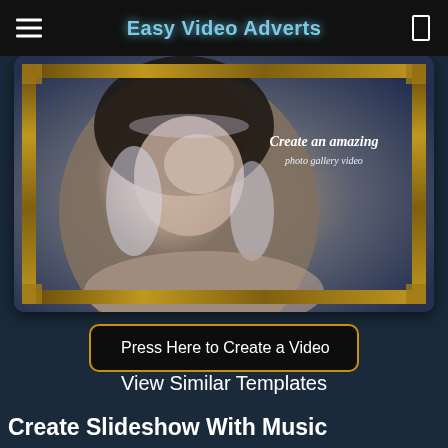Easy Video Adverts
[Figure (screenshot): A woman with ornate jewelry and headpiece shown inside a decorative frame with text overlay reading 'Create an amazing photo gallery video']
Press Here to Create a Video
View Similar Templates
Create Slideshow With Music